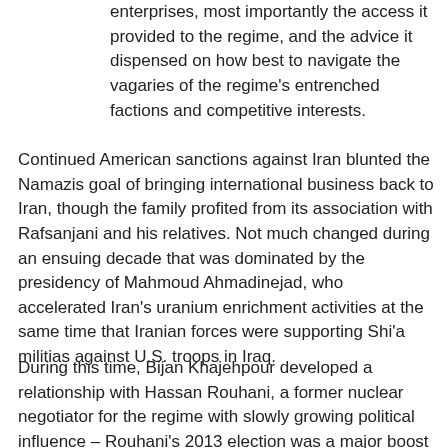enterprises, most importantly the access it provided to the regime, and the advice it dispensed on how best to navigate the vagaries of the regime's entrenched factions and competitive interests.
Continued American sanctions against Iran blunted the Namazis goal of bringing international business back to Iran, though the family profited from its association with Rafsanjani and his relatives. Not much changed during an ensuing decade that was dominated by the presidency of Mahmoud Ahmadinejad, who accelerated Iran's uranium enrichment activities at the same time that Iranian forces were supporting Shi'a militias against U.S. troops in Iraq.
During this time, Bijan Khajehpour developed a relationship with Hassan Rouhani, a former nuclear negotiator for the regime with slowly growing political influence – Rouhani's 2013 election was a major boost for the Namazi family. Meanwhile, Bijan's relative Siamak Namazi had already teamed up with Trita Parsi, a Swedish-Iranian academic and political activist who presently heads NIAC. Urging political